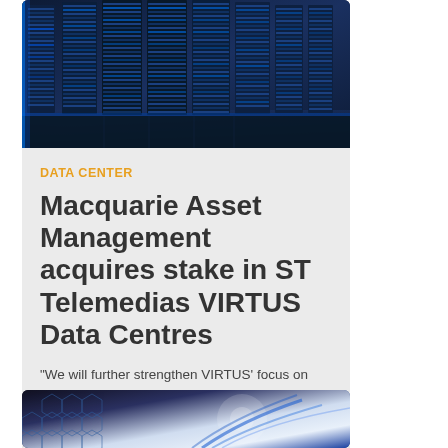[Figure (photo): Data center server racks with blue lighting, viewed from a corridor perspective]
DATA CENTER
Macquarie Asset Management acquires stake in ST Telemedias VIRTUS Data Centres
"We will further strengthen VIRTUS' focus on sustainability by backing investment in its technology and enhancing the lifecycle management of its equipment."
[Figure (photo): Abstract technology background with hexagonal patterns and blue light effects]